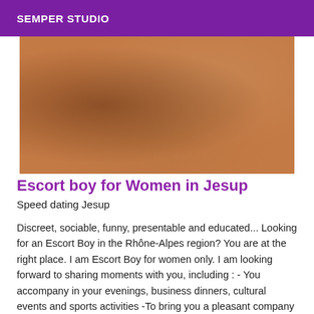SEMPER STUDIO
[Figure (photo): Close-up photo of human skin/back with warm brown tones]
Escort boy for Women in Jesup
Speed dating Jesup
Discreet, sociable, funny, presentable and educated... Looking for an Escort Boy in the Rhône-Alpes region? You are at the right place. I am Escort Boy for women only. I am looking forward to sharing moments with you, including : - You accompany in your evenings, business dinners, cultural events and sports activities -To bring you a pleasant company during the day, weekend or evening, a support, a companionship - Being present at a particular event. I am open to any offer. Photo...